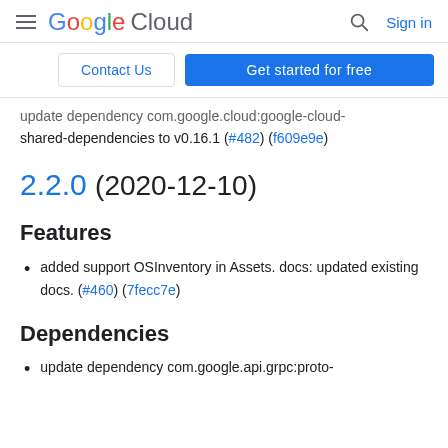Google Cloud — Sign in
[Figure (logo): Google Cloud navigation bar with hamburger menu, Google Cloud logo, search icon, and Sign in link]
Contact Us | Get started for free
update dependency com.google.cloud:google-cloud-shared-dependencies to v0.16.1 (#482) (f609e9e)
2.2.0 (2020-12-10)
Features
added support OSInventory in Assets. docs: updated existing docs. (#460) (7fecc7e)
Dependencies
update dependency com.google.api.grpc:proto-